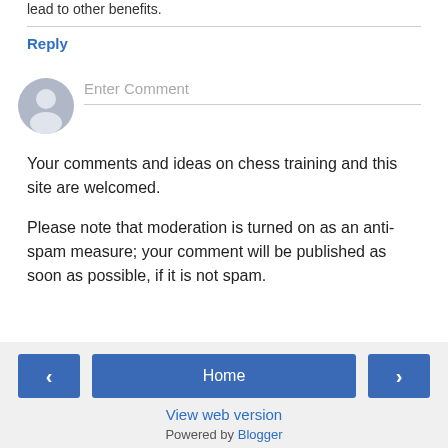lead to other benefits.
Reply
[Figure (illustration): User avatar icon (grey silhouette) next to an 'Enter Comment' input field with a bottom border]
Your comments and ideas on chess training and this site are welcomed.

Please note that moderation is turned on as an anti-spam measure; your comment will be published as soon as possible, if it is not spam.
< | Home | > | View web version | Powered by Blogger